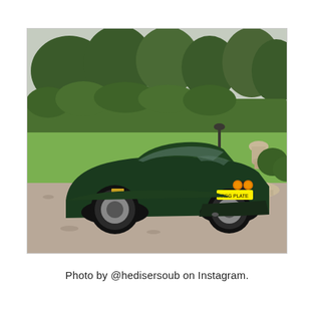[Figure (photo): Rear three-quarter view of a dark British Racing Green Aston Martin sports car (coupe) parked on a gravel driveway in a garden setting. The car has round amber/orange tail lights, a yellow UK registration plate, and silver multi-spoke alloy wheels. In the background are manicured hedges, tall trees, a stone lamp post, ornamental stone garden furniture (bench and table with urns), and a green lawn under a cloudy sky.]
Photo by @hedisersoub on Instagram.